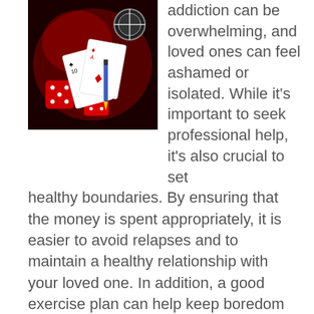[Figure (photo): Photo of gambling items: playing cards, red dice, casino chips on a dark red/black background]
addiction can be overwhelming, and loved ones can feel ashamed or isolated. While it's important to seek professional help, it's also crucial to set healthy boundaries. By ensuring that the money is spent appropriately, it is easier to avoid relapses and to maintain a healthy relationship with your loved one. In addition, a good exercise plan can help keep boredom at bay. Ultimately, the goal is to prevent gambling from taking over your life.
Gambling has been around for centuries, but it's been suppressed by law in many areas for almost as long. While gambling was virtually banned throughout the U.S. in the early 20th century, it was...